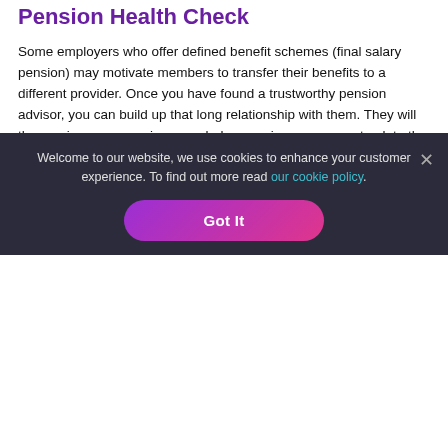Pension Health Check
Some employers who offer defined benefit schemes (final salary pension) may motivate members to transfer their benefits to a different provider. Once you have found a trustworthy pension advisor, you can build up that long relationship with them. They will then review your pensions regularly, ensuring you are on track to the income in retirement you were hoping to aim for.
Getting all your pensions with one provider
The following could possibly be happening without your knowledge if you haven't had your pension review in a while;
Welcome to our website, we use cookies to enhance your customer experience. To find out more read our cookie policy.